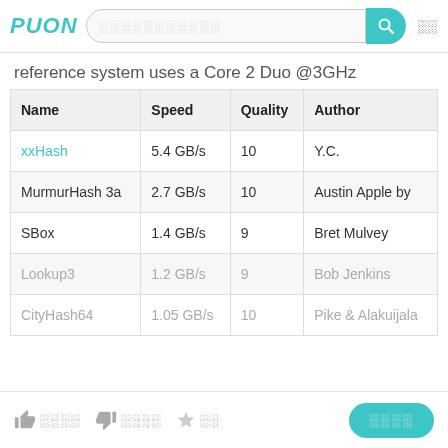Puon [search bar] [menu icon]
reference system uses a Core 2 Duo @3GHz
| Name | Speed | Quality | Author |
| --- | --- | --- | --- |
| xxHash | 5.4 GB/s | 10 | Y.C. |
| MurmurHash 3a | 2.7 GB/s | 10 | Austin Apple by |
| SBox | 1.4 GB/s | 9 | Bret Mulvey |
| Lookup3 | 1.2 GB/s | 9 | Bob Jenkins |
| CityHash64 | 1.05 GB/s | 10 | Pike & Alakuijala |
[like icon] 0000 [dislike icon] 0000 [star icon] 00   [button] 0000